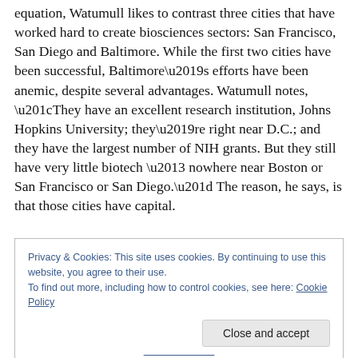equation, Watumull likes to contrast three cities that have worked hard to create biosciences sectors: San Francisco, San Diego and Baltimore. While the first two cities have been successful, Baltimore's efforts have been anemic, despite several advantages. Watumull notes, “They have an excellent research institution, Johns Hopkins University; they’re right near D.C.; and they have the largest number of NIH grants. But they still have very little biotech – nowhere near Boston or San Francisco or San Diego.” The reason, he says, is that those cities have capital.
Privacy & Cookies: This site uses cookies. By continuing to use this website, you agree to their use.
To find out more, including how to control cookies, see here: Cookie Policy
Close and accept